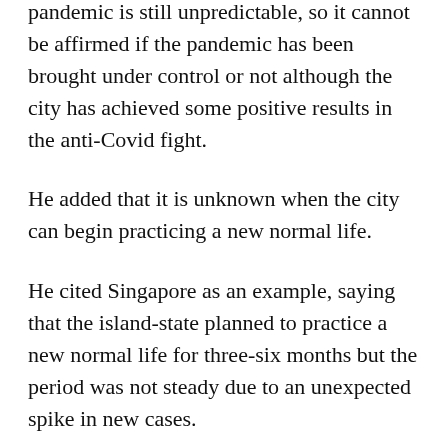pandemic is still unpredictable, so it cannot be affirmed if the pandemic has been brought under control or not although the city has achieved some positive results in the anti-Covid fight.
He added that it is unknown when the city can begin practicing a new normal life.
He cited Singapore as an example, saying that the island-state planned to practice a new normal life for three-six months but the period was not steady due to an unexpected spike in new cases.
In HCMC, many production and business, learning and healthcare activities and many sectors have yet to resume normal operations, so the city has yet to fully return to the new normal.